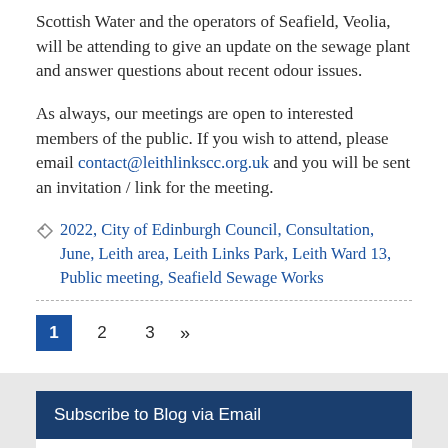Scottish Water and the operators of Seafield, Veolia, will be attending to give an update on the sewage plant and answer questions about recent odour issues.
As always, our meetings are open to interested members of the public. If you wish to attend, please email contact@leithlinkscc.org.uk and you will be sent an invitation / link for the meeting.
2022, City of Edinburgh Council, Consultation, June, Leith area, Leith Links Park, Leith Ward 13, Public meeting, Seafield Sewage Works
1 2 3 »
Subscribe to Blog via Email
Enter your email address to subscribe to this blog and receive notifications of new posts by email.